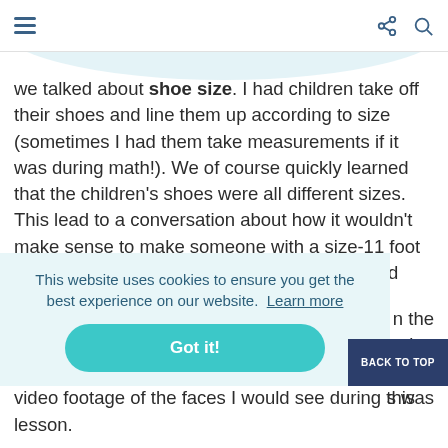Navigation bar with hamburger menu, share icon, and search icon
we talked about shoe size. I had children take off their shoes and line them up according to size (sometimes I had them take measurements if it was during math!). We of course quickly learned that the children's shoes were all different sizes. This lead to a conversation about how it wouldn't make sense to make someone with a size-11 foot squeeze into a size-five shoe. Clearly, the child had long outgrown the size five shoe and was ready for a [cookie overlay] n the [cookie overlay] ian [cookie overlay] were [cookie overlay] s was video footage of the faces I would see during this lesson.